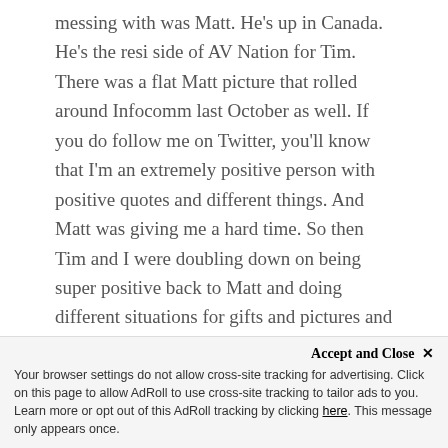messing with was Matt. He's up in Canada. He's the resi side of AV Nation for Tim. There was a flat Matt picture that rolled around Infocomm last October as well. If you do follow me on Twitter, you'll know that I'm an extremely positive person with positive quotes and different things. And Matt was giving me a hard time. So then Tim and I were doubling down on being super positive back to Matt and doing different situations for gifts and pictures and keeping it light.
Ron: What is your Twitter origin story? You're active. It's a platform. You not only consume content, but you have a social network on Twitter. I just described a little bit of my origin story and
Accept and Close ✕
Your browser settings do not allow cross-site tracking for advertising. Click on this page to allow AdRoll to use cross-site tracking to tailor ads to you. Learn more or opt out of this AdRoll tracking by clicking here. This message only appears once.